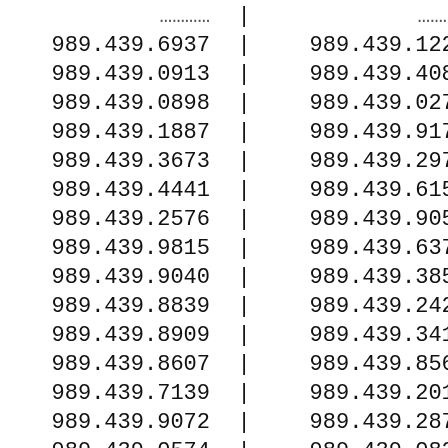| Col1 |  | Col2 |  |
| --- | --- | --- | --- |
| 989.439.6937 | | | 989.439.1222 | | |
| 989.439.0913 | | | 989.439.4081 | | |
| 989.439.0898 | | | 989.439.0277 | | |
| 989.439.1887 | | | 989.439.9176 | | |
| 989.439.3673 | | | 989.439.2970 | | |
| 989.439.4441 | | | 989.439.6157 | | |
| 989.439.2576 | | | 989.439.9055 | | |
| 989.439.9815 | | | 989.439.6376 | | |
| 989.439.9040 | | | 989.439.3852 | | |
| 989.439.8839 | | | 989.439.2425 | | |
| 989.439.8909 | | | 989.439.3410 | | |
| 989.439.8607 | | | 989.439.8565 | | |
| 989.439.7139 | | | 989.439.2019 | | |
| 989.439.9072 | | | 989.439.2875 | | |
| 989.439.0574 | | | 989.439.0820 | | |
| 989.439.4563 | | | 989.439.5513 | | |
| 989.439.6683 | | | 989.439.1295 | | |
| 989.439.5695 | | | 989.439.5689 | | |